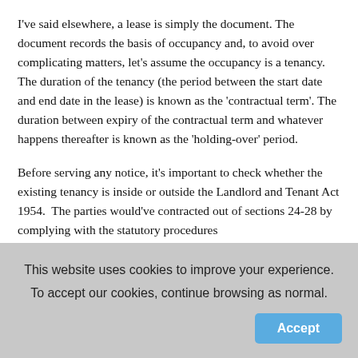I've said elsewhere, a lease is simply the document. The document records the basis of occupancy and, to avoid over complicating matters, let's assume the occupancy is a tenancy. The duration of the tenancy (the period between the start date and end date in the lease) is known as the 'contractual term'. The duration between expiry of the contractual term and whatever happens thereafter is known as the 'holding-over' period.
Before serving any notice, it's important to check whether the existing tenancy is inside or outside the Landlord and Tenant Act 1954.  The parties would've contracted out of sections 24-28 by complying with the statutory procedures
This website uses cookies to improve your experience.
To accept our cookies, continue browsing as normal.